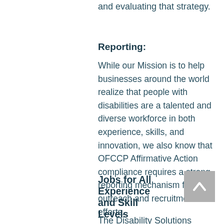and evaluating that strategy.
Reporting:
While our Mission is to help businesses around the world realize that people with disabilities are a talented and diverse workforce in both experience, skills, and innovation, we also know that OFCCP Affirmative Action compliance requires a strong reporting mechanism for outreach and recruitment efforts.
Jobs for All Experience and Skill Levels
[Figure (other): Scroll-to-top button with upward chevron arrow on grey background]
The Disability Solutions Career Center focuses on jobs requiring a wide range